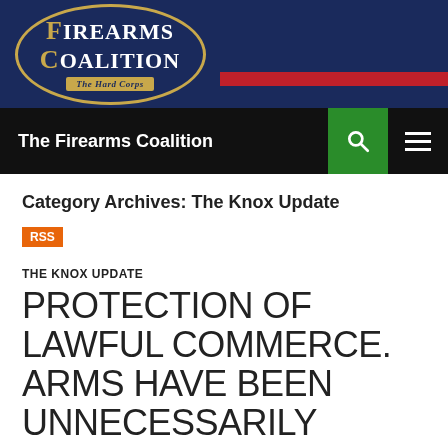[Figure (logo): Firearms Coalition 'The Hard Corps' logo with oval gold border on dark navy background with red and blue stripes]
The Firearms Coalition
Category Archives: The Knox Update
RSS
THE KNOX UPDATE
PROTECTION OF LAWFUL COMMERCE. ARMS HAVE BEEN UNNECESSARILY SPECIFIED